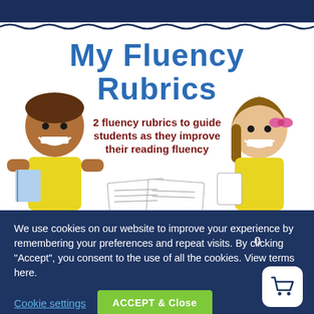[Figure (illustration): Educational product cover showing 'My Fluency Rubrics' title in blue bold text with two cartoon children smiling, and subtitle '2 fluency rubrics to guide students as they improve their reading fluency' in dark red text on white background with wavy border.]
We use cookies on our website to improve your experience by remembering your preferences and repeat visits. By clicking “Accept”, you consent to the use of all the cookies. View terms here.
Cookie settings
ACCEPT & Close